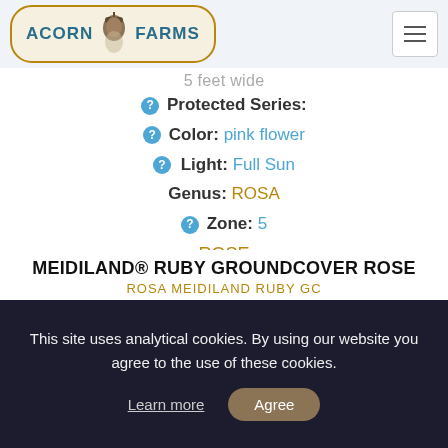[Figure (logo): Acorn Farms logo with acorn illustration inside an oval badge with gold border]
5 feet wide
Protected Series:
Color: pink flower
Light: Full Sun
Genus: ROSA
Zone: 5
ROSE
#7477
MEIDILAND® RUBY GROUNDCOVER ROSE
ROSA MEIDILAND RUBY GC
This site uses analytical cookies. By using our website you agree to the use of these cookies.
Learn more   Agree